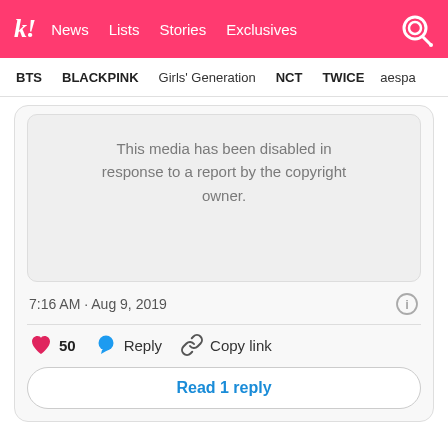k! News  Lists  Stories  Exclusives
BTS  BLACKPINK  Girls' Generation  NCT  TWICE  aespa
[Figure (screenshot): Embedded tweet with disabled media showing message: This media has been disabled in response to a report by the copyright owner.]
7:16 AM · Aug 9, 2019
50  Reply  Copy link
Read 1 reply